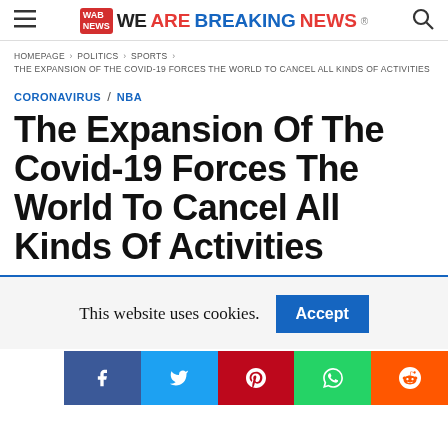WAB WEAREBREAKINGNEWS®
HOMEPAGE > POLITICS > SPORTS > THE EXPANSION OF THE COVID-19 FORCES THE WORLD TO CANCEL ALL KINDS OF ACTIVITIES
CORONAVIRUS / NBA
The Expansion Of The Covid-19 Forces The World To Cancel All Kinds Of Activities
This website uses cookies. Accept
[Figure (other): Social share bar with Facebook, Twitter, Pinterest, WhatsApp, Reddit icons]